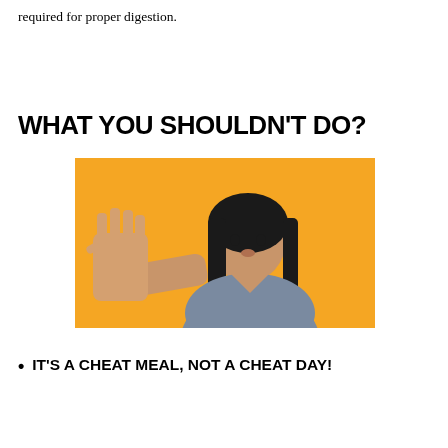required for proper digestion.
WHAT YOU SHOULDN'T DO?
[Figure (photo): Woman with dark hair wearing a grey t-shirt against a yellow background, holding up her hand in a stop gesture toward the camera.]
IT'S A CHEAT MEAL, NOT A CHEAT DAY!